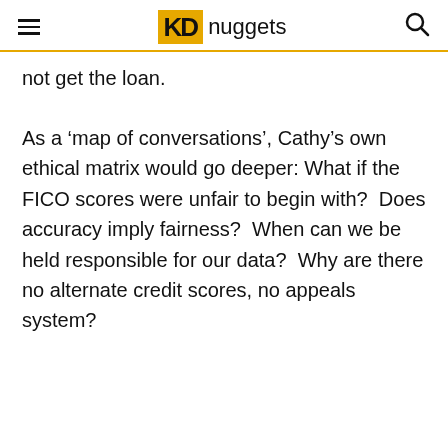KD nuggets
not get the loan.
As a ‘map of conversations’, Cathy’s own ethical matrix would go deeper: What if the FICO scores were unfair to begin with?  Does accuracy imply fairness?  When can we be held responsible for our data?  Why are there no alternate credit scores, no appeals system?